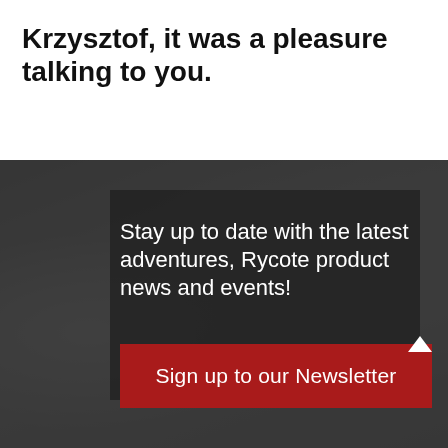Krzysztof, it was a pleasure talking to you.
[Figure (photo): Dark background image of a film crew holding a boom microphone outdoors. Overlaid with a dark semi-transparent panel containing newsletter signup text and a red button.]
Stay up to date with the latest adventures, Rycote product news and events!
Sign up to our Newsletter